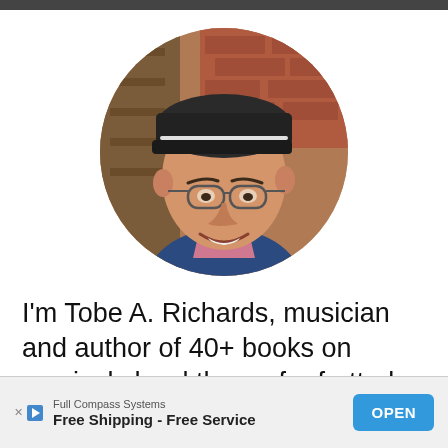[Figure (photo): Circular portrait photo of a middle-aged man wearing a dark cap and glasses, smiling, dressed in a blue jacket with a pink shirt, with a brick/wood background.]
I'm Tobe A. Richards, musician and author of 40+ books on musical chord theory for fretted instruments. I started Fret Expert to share my
[Figure (other): Advertisement banner: Full Compass Systems - Free Shipping - Free Service, with an OPEN button.]